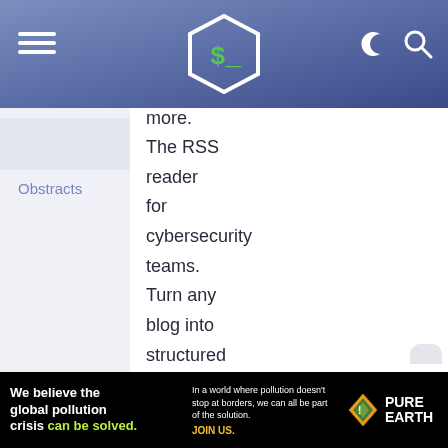Shell scripting blog – header with logo, hamburger menu, dark mode and search icons
more.
Obstracts
The RSS reader for cybersecurity teams. Turn any blog into structured and actionable threat intelligence.
OpenPhish
[Figure (infographic): Advertisement banner: 'We believe the global pollution crisis can be solved.' with Pure Earth logo and text about pollution not stopping at borders.]